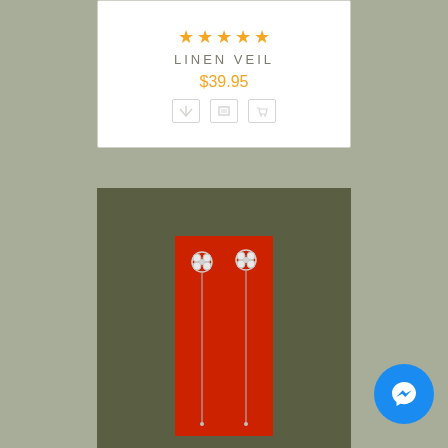[Figure (other): Product card showing 5 orange stars rating, product title LINEN VEIL, price $39.95, and three action icons (wishlist, compare, cart)]
[Figure (photo): Product photo showing two silver floral drop earrings displayed on a red fabric/card background against a dark olive background]